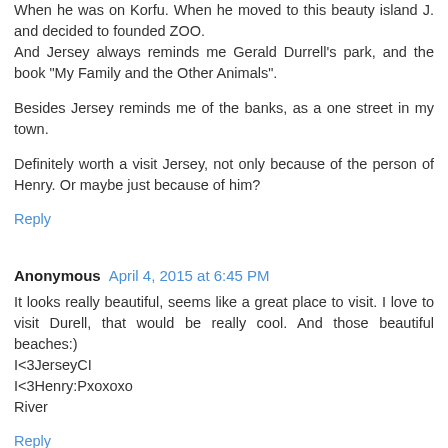When he was on Korfu. When he moved to this beauty island J. and decided to founded ZOO.
And Jersey always reminds me Gerald Durrell's park, and the book "My Family and the Other Animals".
Besides Jersey reminds me of the banks, as a one street in my town.
Definitely worth a visit Jersey, not only because of the person of Henry. Or maybe just because of him?
Reply
Anonymous  April 4, 2015 at 6:45 PM
It looks really beautiful, seems like a great place to visit. I love to visit Durell, that would be really cool. And those beautiful beaches:)
I<3JerseyCI
I<3Henry:Pxoxoxo
River
Reply